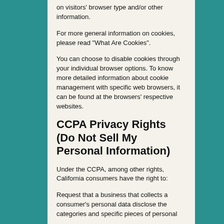on visitors' browser type and/or other information.
For more general information on cookies, please read "What Are Cookies".
You can choose to disable cookies through your individual browser options. To know more detailed information about cookie management with specific web browsers, it can be found at the browsers' respective websites.
CCPA Privacy Rights (Do Not Sell My Personal Information)
Under the CCPA, among other rights, California consumers have the right to:
Request that a business that collects a consumer's personal data disclose the categories and specific pieces of personal